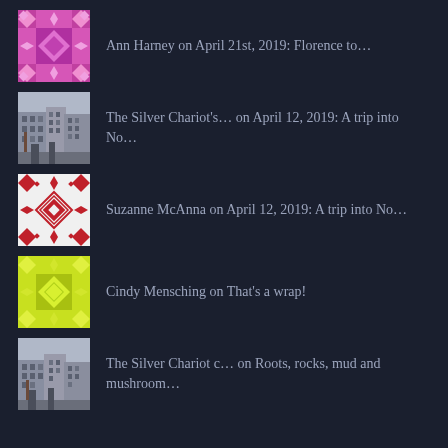Ann Harney on April 21st, 2019: Florence to...
The Silver Chariot's... on April 12, 2019: A trip into No...
Suzanne McAnna on April 12, 2019: A trip into No...
Cindy Mensching on That's a wrap!
The Silver Chariot c... on Roots, rocks, mud and mushroom...
ARCHIVES
Select Month